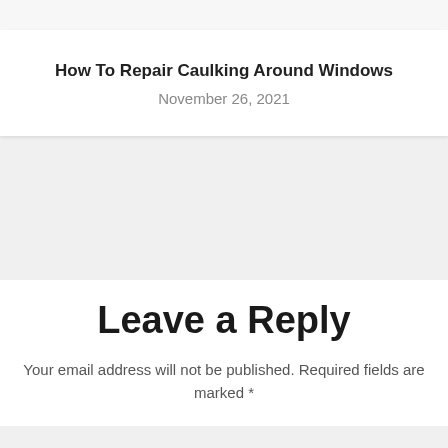How To Repair Caulking Around Windows
November 26, 2021
Leave a Reply
Your email address will not be published. Required fields are marked *
Comment *